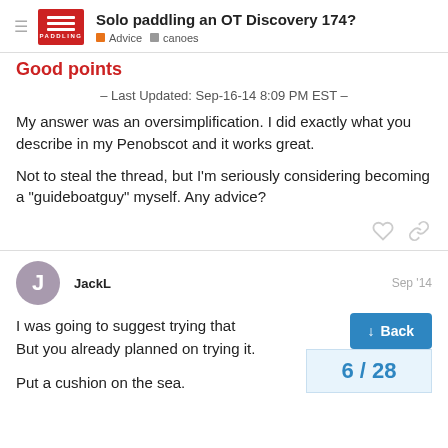Solo paddling an OT Discovery 174? | Advice | canoes
Good points
– Last Updated: Sep-16-14 8:09 PM EST –
My answer was an oversimplification. I did exactly what you describe in my Penobscot and it works great.
Not to steal the thread, but I'm seriously considering becoming a "guideboatguy" myself. Any advice?
JackL
Sep '14
I was going to suggest trying that
But you already planned on trying it.
Put a cushion on the sea.
6 / 28